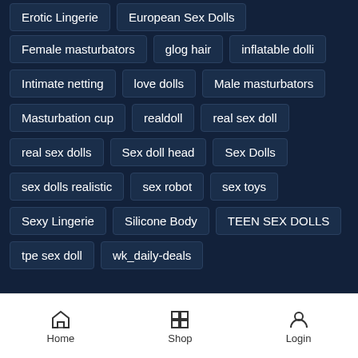Erotic Lingerie
European Sex Dolls
Female masturbators
glog hair
inflatable dolli
Intimate netting
love dolls
Male masturbators
Masturbation cup
realdoll
real sex doll
real sex dolls
Sex doll head
Sex Dolls
sex dolls realistic
sex robot
sex toys
Sexy Lingerie
Silicone Body
TEEN SEX DOLLS
tpe sex doll
wk_daily-deals
Home  Shop  Login